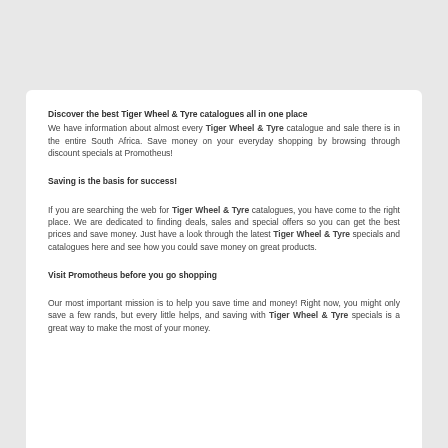Discover the best Tiger Wheel & Tyre catalogues all in one place
We have information about almost every Tiger Wheel & Tyre catalogue and sale there is in the entire South Africa. Save money on your everyday shopping by browsing through discount specials at Promotheus!
Saving is the basis for success!
If you are searching the web for Tiger Wheel & Tyre catalogues, you have come to the right place. We are dedicated to finding deals, sales and special offers so you can get the best prices and save money. Just have a look through the latest Tiger Wheel & Tyre specials and catalogues here and see how you could save money on great products.
Visit Promotheus before you go shopping
Our most important mission is to help you save time and money! Right now, you might only save a few rands, but every little helps, and saving with Tiger Wheel & Tyre specials is a great way to make the most of your money.